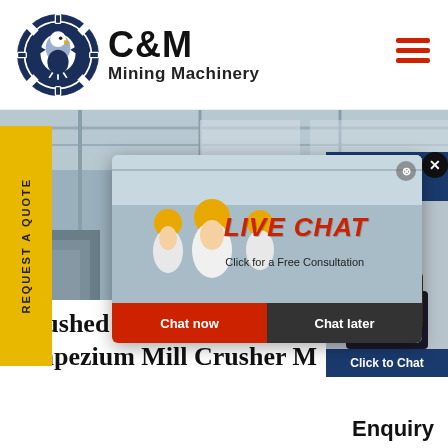[Figure (logo): C&M Mining Machinery logo with eagle in gear circle, dark navy blue, with company name in bold black text]
[Figure (photo): Industrial factory/warehouse interior background with large machinery]
REQUEST A QUOTE
[Figure (screenshot): Live Chat popup overlay with workers in hard hats, LIVE CHAT heading in red, Click for a Free Consultation, Chat now (red) and Chat later (dark) buttons]
[Figure (screenshot): Right side chat widget with Hours Online text, customer service agent photo, Click to Chat button]
Crushed Rock Tm Medium Trapezium Mill Crusher M...
Enquiry